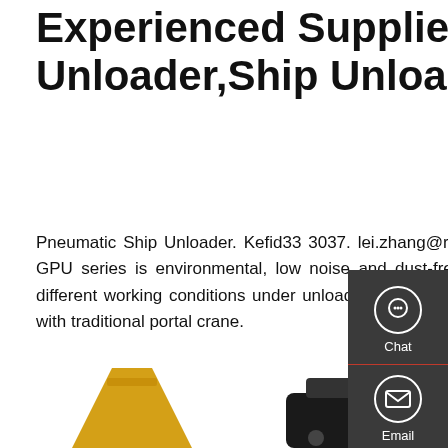Experienced Supplier Of Pneumatic Unloader,Ship Unloader
Pneumatic Ship Unloader. Kefid33 3037. lei.zhang@rainbowco.com.cn. The most prominent advantage of GPU series is environmental, low noise and dust-free operation. The follow 2 pictures show the totally different working conditions under unloading with GPU series and traditional portal crane. Unloading grain with traditional portal crane.
Get a Quote
[Figure (photo): Two images at the bottom: left shows a gold/yellow colored pneumatic unloader equipment, right shows a black traditional portal crane equipment]
[Figure (infographic): Sidebar with Chat, Email, and Contact icons on dark background]